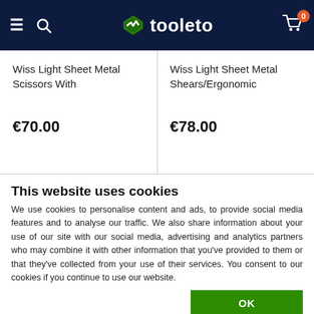tooleto — navigation header with menu, search, and cart
Wiss Light Sheet Metal Scissors With
€70.00
Wiss Light Sheet Metal Shears/Ergonomic
€78.00
This website uses cookies
We use cookies to personalise content and ads, to provide social media features and to analyse our traffic. We also share information about your use of our site with our social media, advertising and analytics partners who may combine it with other information that you've provided to them or that they've collected from your use of their services. You consent to our cookies if you continue to use our website.
OK
Necessary  Preferences  Statistics  Marketing  Show details